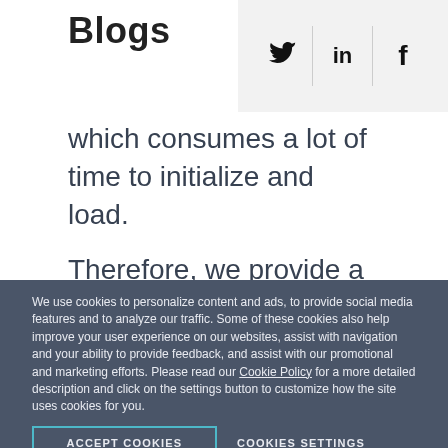Blogs
which consumes a lot of time to initialize and load.
Therefore, we provide a way to diagnose the startup process and identify the bottlenecks. This can be done with the following setting in the web.config:
We use cookies to personalize content and ads, to provide social media features and to analyze our traffic. Some of these cookies also help improve your user experience on our websites, assist with navigation and your ability to provide feedback, and assist with our promotional and marketing efforts. Please read our Cookie Policy for a more detailed description and click on the settings button to customize how the site uses cookies for you.
ACCEPT COOKIES
COOKIES SETTINGS